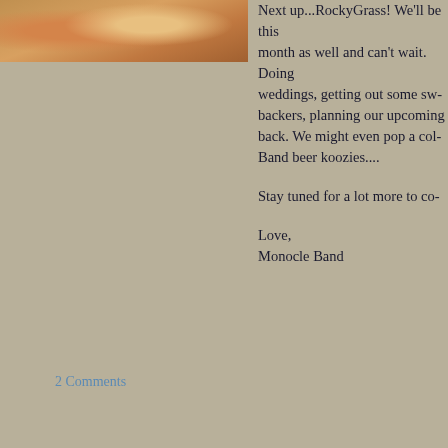[Figure (photo): Partial photo of a person wearing glasses and a yellow/green hat, cropped at top of page]
Next up...RockyGrass! We'll be this month as well and can't wait. Doing weddings, getting out some sw- backers, planning our upcoming back. We might even pop a col- Band beer koozies....
Stay tuned for a lot more to co-
Love,
Monocle Band
2 Comments